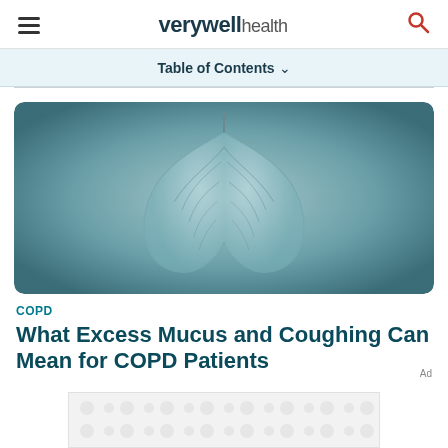verywell health
Table of Contents
[Figure (illustration): Two leaves arranged symmetrically to resemble human lungs against a blue-grey gradient background]
COPD
What Excess Mucus and Coughing Can Mean for COPD Patients
[Figure (other): Advertisement banner with grey dot pattern]